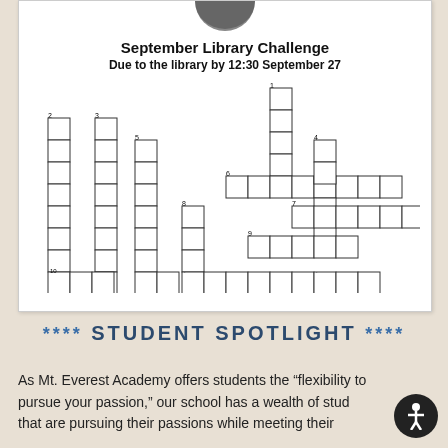[Figure (other): Partial circle/moon image at top of white card]
September Library Challenge
Due to the library by 12:30 September 27
[Figure (other): Crossword puzzle grid with numbered clues]
**** STUDENT SPOTLIGHT ****
As Mt. Everest Academy offers students the “flexibility to pursue your passion,” our school has a wealth of students that are pursuing their passions while meeting their